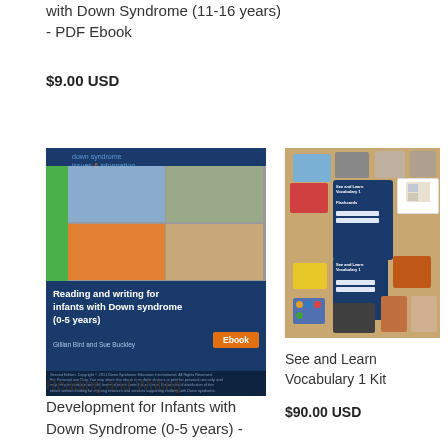with Down Syndrome (11-16 years) - PDF Ebook
$9.00 USD
[Figure (photo): Book cover: Reading and writing for infants with Down syndrome (0-5 years) by Gillian Bird and Sue Buckley, Ebook edition. Green spine, blue cover with photos of children, Down Syndrome Issues & Information branding.]
[Figure (photo): See and Learn Vocabulary 1 Kit product photo showing vocabulary flashcards spread on a wooden table surface.]
See and Learn Vocabulary 1 Kit
$90.00 USD
Reading and Writing Development for Infants with Down Syndrome (0-5 years) -